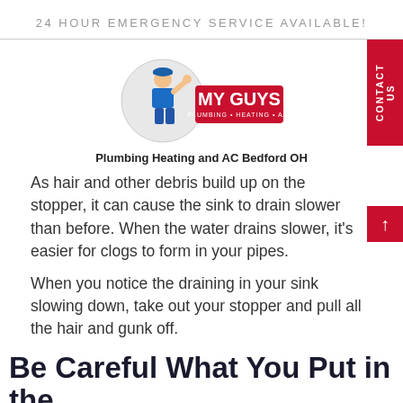24 HOUR EMERGENCY SERVICE AVAILABLE!
[Figure (logo): My Guys Plumbing Heating and Air logo with cartoon plumber mascot]
Plumbing Heating and AC Bedford OH
As hair and other debris build up on the stopper, it can cause the sink to drain slower than before. When the water drains slower, it's easier for clogs to form in your pipes.
When you notice the draining in your sink slowing down, take out your stopper and pull all the hair and gunk off.
Be Careful What You Put in the